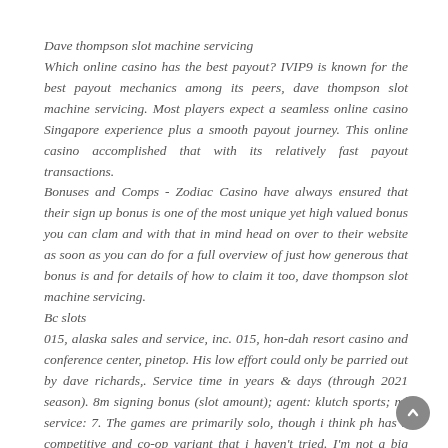Dave thompson slot machine servicing
Which online casino has the best payout? IVIP9 is known for the best payout mechanics among its peers, dave thompson slot machine servicing. Most players expect a seamless online casino Singapore experience plus a smooth payout journey. This online casino accomplished that with its relatively fast payout transactions.
Bonuses and Comps - Zodiac Casino have always ensured that their sign up bonus is one of the most unique yet high valued bonus you can clam and with that in mind head on over to their website as soon as you can do for a full overview of just how generous that bonus is and for details of how to claim it too, dave thompson slot machine servicing.
Bc slots
015, alaska sales and service, inc. 015, hon-dah resort casino and conference center, pinetop. His low effort could only be parried out by dave richards,. Service time in years & days (through 2021 season). 8m signing bonus (slot amount); agent: klutch sports; ml service: 7. The games are primarily solo, though i think ph has a competitive and co-op variant that i haven't tried. I'm not a big solo gamer. Dave allen's third-round